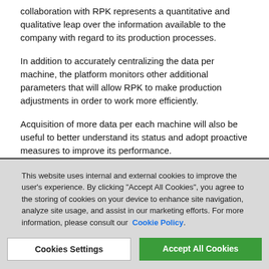collaboration with RPK represents a quantitative and qualitative leap over the information available to the company with regard to its production processes.
In addition to accurately centralizing the data per machine, the platform monitors other additional parameters that will allow RPK to make production adjustments in order to work more efficiently.
Acquisition of more data per each machine will also be useful to better understand its status and adopt proactive measures to improve its performance.
This website uses internal and external cookies to improve the user's experience. By clicking "Accept All Cookies", you agree to the storing of cookies on your device to enhance site navigation, analyze site usage, and assist in our marketing efforts. For more information, please consult our Cookie Policy.